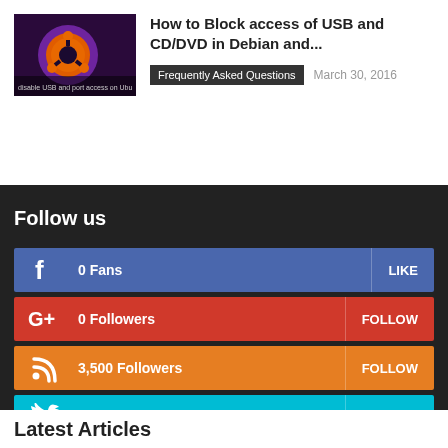[Figure (screenshot): Ubuntu logo thumbnail image with orange circle and dark background, with text 'disable USB and port access on Ubu']
How to Block access of USB and CD/DVD in Debian and...
Frequently Asked Questions   March 30, 2016
Follow us
0  Fans  LIKE
0  Followers  FOLLOW
3,500  Followers  FOLLOW
12,304  Followers  FOLLOW
522  Subscribers  SUBSCRIBE
Latest Articles